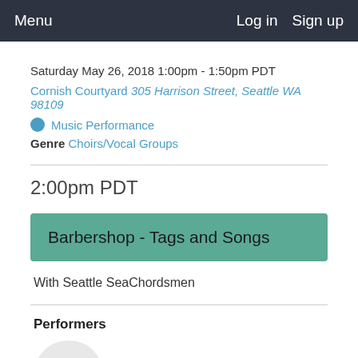Menu   Log in   Sign up
Saturday May 26, 2018 1:00pm - 1:50pm PDT
Cornish Courtyard 305 Harrison Street, Seattle WA 98109
Music Performance
Genre Choirs/Vocal Groups
2:00pm PDT
Barbershop - Tags and Songs
With Seattle SeaChordsmen
Performers
[Figure (illustration): Avatar circle with initials BT in light gray]